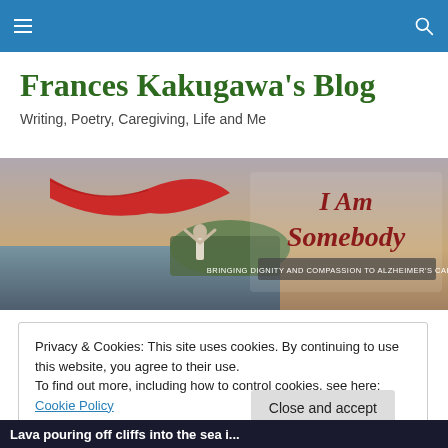Frances Kakugawa's Blog — navigation bar with menu and search icons
Frances Kakugawa's Blog
Writing, Poetry, Caregiving, Life and Me
[Figure (photo): Woman standing at a seaside with arms raised holding a large red flowing cloth, with text overlay 'I Am Somebody – Bringing Dignity and Compassion to Alzheimer's Caregiving']
Privacy & Cookies: This site uses cookies. By continuing to use this website, you agree to their use.
To find out more, including how to control cookies, see here: Cookie Policy
Lava pouring off cliffs into the sea i...